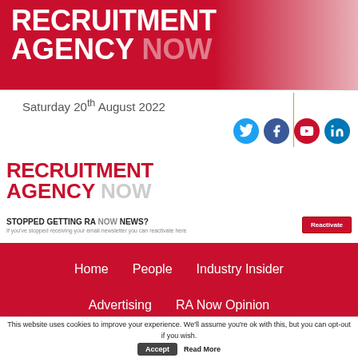RECRUITMENT AGENCY NOW
Saturday 20th August 2022
[Figure (logo): Recruitment Agency NOW secondary logo with red and grey text]
STOPPED GETTING RA NOW NEWS? If you've stopped receiving your email newsletter you can reactivate here
Home  People  Industry Insider  Advertising  RA Now Opinion
This website uses cookies to improve your experience. We'll assume you're ok with this, but you can opt-out if you wish. Accept  Read More